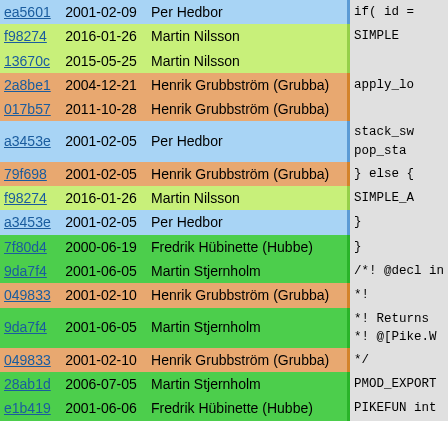| hash | date | author |  | code |
| --- | --- | --- | --- | --- |
| ea5601 | 2001-02-09 | Per Hedbor |  | if( id = |
| f98274 | 2016-01-26 | Martin Nilsson |  | SIMPLE |
| 13670c | 2015-05-25 | Martin Nilsson |  |  |
| 2a8be1 | 2004-12-21 | Henrik Grubbström (Grubba) |  | apply_lo |
| 017b57 | 2011-10-28 | Henrik Grubbström (Grubba) |  |  |
| a3453e | 2001-02-05 | Per Hedbor |  | stack_sw
pop_sta |
| 79f698 | 2001-02-05 | Henrik Grubbström (Grubba) |  | } else { |
| f98274 | 2016-01-26 | Martin Nilsson |  | SIMPLE_A |
| a3453e | 2001-02-05 | Per Hedbor |  | } |
| 7f80d4 | 2000-06-19 | Fredrik Hübinette (Hubbe) |  | } |
| 9da7f4 | 2001-06-05 | Martin Stjernholm |  | /*! @decl in |
| 049833 | 2001-02-10 | Henrik Grubbström (Grubba) |  | *! |
| 9da7f4 | 2001-06-05 | Martin Stjernholm |  | *! Returns
*! @[Pike.W |
| 049833 | 2001-02-10 | Henrik Grubbström (Grubba) |  | */ |
| 28ab1d | 2006-07-05 | Martin Stjernholm |  | PMOD_EXPORT |
| e1b419 | 2001-06-06 | Fredrik Hübinette (Hubbe) |  | PIKEFUN int |